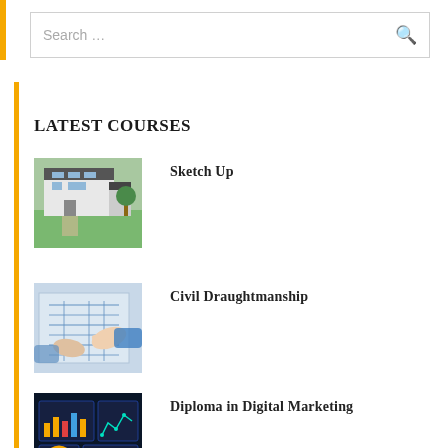Search …
LATEST COURSES
[Figure (photo): Aerial/isometric view of a modern white house with grey accents and green lawn]
Sketch Up
[Figure (photo): Two people pointing at architectural blueprints/technical drawings on a desk]
Civil Draughtmanship
[Figure (photo): Digital marketing dashboard with charts, graphs and data visualizations on screens]
Diploma in Digital Marketing